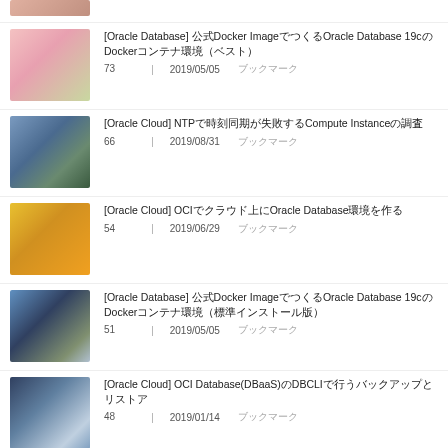[Oracle Database] 公式Docker ImageでつくるOracle Database 19cのDockerコンテナ環境（ベスト）
[Oracle Cloud] NTPで時刻同期が失敗するCompute Instanceの調査
[Oracle Cloud] OCIでクラウド上にOracle Database環境を作る（中級）
[Oracle Database] 公式Docker ImageでつくるOracle Database 19cのDockerコンテナ環境（標準インストール版）
[Oracle Cloud] OCI Database(DBaaS)のDBCLIで行うバックアップとリストア